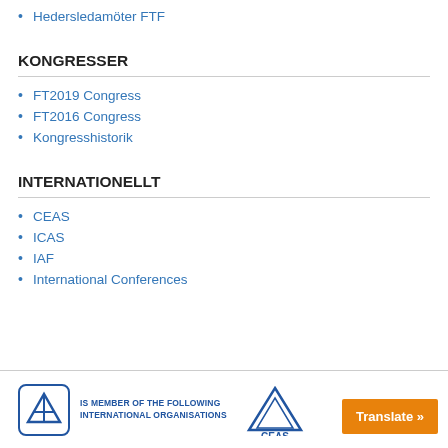Hedersledamöter FTF
KONGRESSER
FT2019 Congress
FT2016 Congress
Kongresshistorik
INTERNATIONELLT
CEAS
ICAS
IAF
International Conferences
IS MEMBER OF THE FOLLOWING INTERNATIONAL ORGANISATIONS